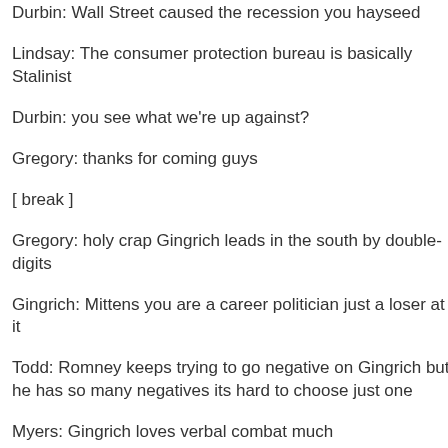Durbin: Wall Street caused the recession you hayseed
Lindsay: The consumer protection bureau is basically Stalinist
Durbin: you see what we're up against?
Gregory: thanks for coming guys
[ break ]
Gregory: holy crap Gingrich leads in the south by double-digits
Gingrich: Mittens you are a career politician just a loser at it
Todd: Romney keeps trying to go negative on Gingrich but he has so many negatives its hard to choose just one
Myers: Gingrich loves verbal combat much